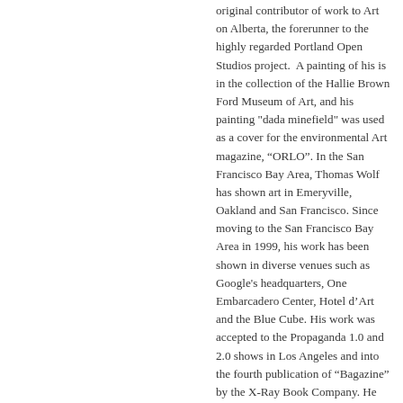original contributor of work to Art on Alberta, the forerunner to the highly regarded Portland Open Studios project.  A painting of his is in the collection of the Hallie Brown Ford Museum of Art, and his painting "dada minefield" was used as a cover for the environmental Art magazine, “ORLO”. In the San Francisco Bay Area, Thomas Wolf has shown art in Emeryville, Oakland and San Francisco. Since moving to the San Francisco Bay Area in 1999, his work has been shown in diverse venues such as Google's headquarters, One Embarcadero Center, Hotel d'Art and the Blue Cube. His work was accepted to the Propaganda 1.0 and 2.0 shows in Los Angeles and into the fourth publication of "Bagazine" by the X-Ray Book Company. He continues to seek to innovate as an artist and to gain wider acceptance of the importance of persistence, discipline and process in the pursuit of painting as Art.
View all posts by Thomas Wolf